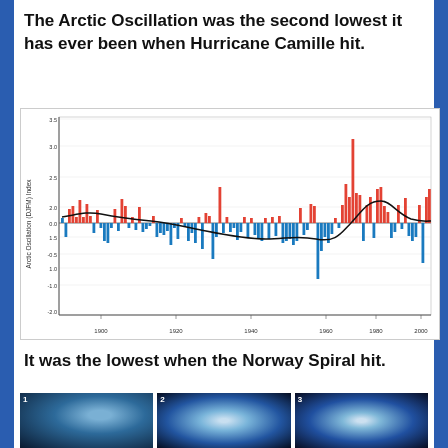The Arctic Oscillation was the second lowest it has ever been when Hurricane Camille hit.
[Figure (bar-chart): Bar chart showing Arctic Oscillation (DJFM) Index from ~1900 to ~2012. Red bars = positive values, blue bars = negative values. A smoothed black trend line overlays the bars. Values range from approximately -2.7 to 3.2.]
It was the lowest when the Norway Spiral hit.
[Figure (photo): Three dark photos of what appears to be a spiral light phenomenon (Norway Spiral) in the night sky, shown side by side with numbers 1, 2, 3.]